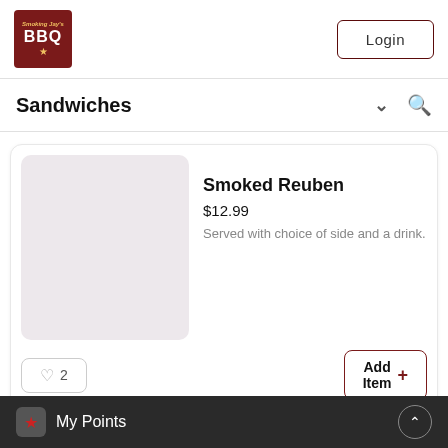[Figure (logo): Smoking Jay's BBQ restaurant logo, dark red background with golden text]
Login
Sandwiches
[Figure (photo): Food item placeholder image, light pinkish-gray square]
Smoked Reuben
$12.99
Served with choice of side and a drink.
2
Add Item +
My Points